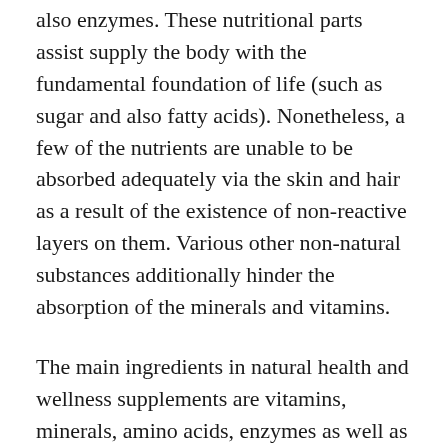also enzymes. These nutritional parts assist supply the body with the fundamental foundation of life (such as sugar and also fatty acids). Nonetheless, a few of the nutrients are unable to be absorbed adequately via the skin and hair as a result of the existence of non-reactive layers on them. Various other non-natural substances additionally hinder the absorption of the minerals and vitamins.
The main ingredients in natural health and wellness supplements are vitamins, minerals, amino acids, enzymes as well as natural herbs. Vitamins are necessary for the body to take in and metabolise various other nutrients. Minerals, on the other hand, are responsible